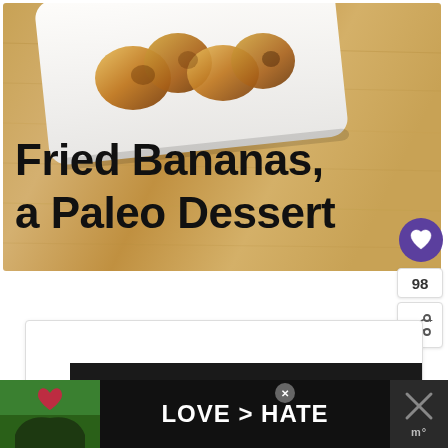[Figure (photo): Fried banana pieces on a white plate placed on a wooden board background, with text overlay reading 'Fried Bananas, a Paleo Dessert']
Fried Bananas, a Paleo Dessert
[Figure (screenshot): Advertisement card with dark background showing 'GET INSTANT ACCESS TO THE' text in green and white]
[Figure (screenshot): Bottom banner advertisement with 'LOVE > HATE' text in white on dark background, featuring hands making a heart shape]